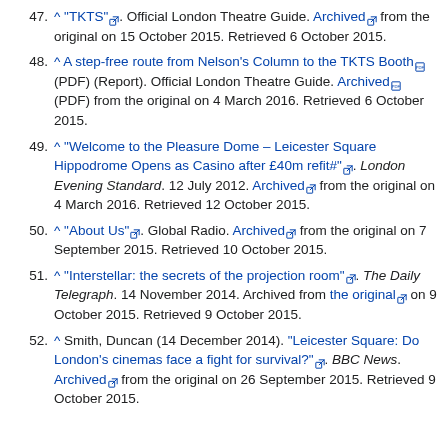47. ^ "TKTS" [ext]. Official London Theatre Guide. Archived [ext] from the original on 15 October 2015. Retrieved 6 October 2015.
48. ^ A step-free route from Nelson's Column to the TKTS Booth [pdf] (PDF) (Report). Official London Theatre Guide. Archived [pdf] (PDF) from the original on 4 March 2016. Retrieved 6 October 2015.
49. ^ "Welcome to the Pleasure Dome – Leicester Square Hippodrome Opens as Casino after £40m refit#" [ext]. London Evening Standard. 12 July 2012. Archived [ext] from the original on 4 March 2016. Retrieved 12 October 2015.
50. ^ "About Us" [ext]. Global Radio. Archived [ext] from the original on 7 September 2015. Retrieved 10 October 2015.
51. ^ "Interstellar: the secrets of the projection room" [ext]. The Daily Telegraph. 14 November 2014. Archived from the original [ext] on 9 October 2015. Retrieved 9 October 2015.
52. ^ Smith, Duncan (14 December 2014). "Leicester Square: Do London's cinemas face a fight for survival?" [ext]. BBC News. Archived [ext] from the original on 26 September 2015. Retrieved 9 October 2015.